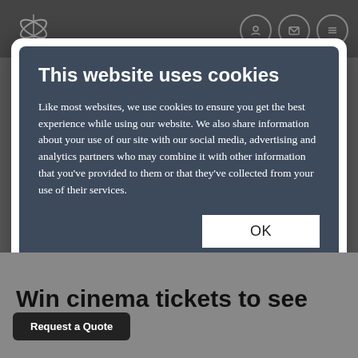[Figure (screenshot): Website header with logo and navigation icons on dark grey background]
This website uses cookies
Like most websites, we use cookies to ensure you get the best experience while using our website. We also share information about your use of our site with our social media, advertising and analytics partners who may combine it with other information that you've provided to them or that they've collected from your use of their services.
OK button
Necessary | Preferences | Statistics | Marketing | Show details
Win cinema tickets to see
Request a Quote